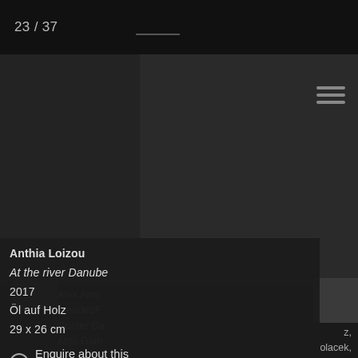23 / 37
[Figure (photo): Dark artwork/painting image area with left strip and navigation elements]
Alex Ama
breadedf
Gunter Da
Aldo Gian
Suse Krav
Anthia Lor
, Kazimi,
z,
olacek,
hwahn,
offers,
Anthia Loizou
At the river Danube
2017
Öl auf Holz
29 x 26 cm
Sunrise, sunrise,
Enquire about this work